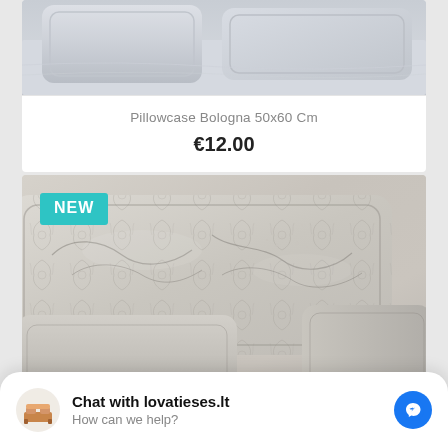[Figure (photo): Pillowcase product photo showing gray/white bed pillows and bedding, partially visible at top of page]
Pillowcase Bologna 50x60 Cm
€12.00
[Figure (photo): Pillowcase product photo showing decorative damask patterned pillowcases in silver/gray tones with NEW badge overlay]
Pillowcase Daniella 50x60 Cm
Chat with lovatieses.lt
How can we help?